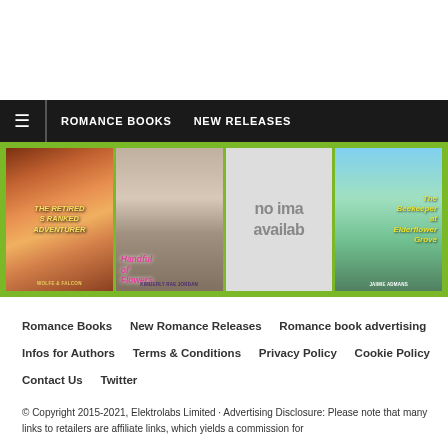ROMANCE BOOKS   NEW RELEASES
[Figure (illustration): Navigation bar with hamburger menu icon, ROMANCE BOOKS and NEW RELEASES links on black background]
[Figure (photo): A strip of four romance book covers: The Retired S Ranked Adventurer by Wolfe & Falcon, Handful of Flowers by Kimberly Rae Jordan, a placeholder 'no image available', and The Beekeeper at Elderflower Grove by Jaimie Admans, displayed on a green background]
Romance Books
New Romance Releases
Romance book advertising
Infos for Authors
Terms & Conditions
Privacy Policy
Cookie Policy
Contact Us
Twitter
© Copyright 2015-2021, Elektrolabs Limited · Advertising Disclosure: Please note that many links to retailers are affiliate links, which yields a commission for